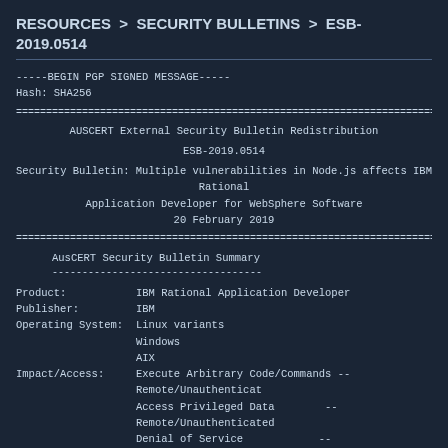RESOURCES > SECURITY BULLETINS > ESB-2019.0514
-----BEGIN PGP SIGNED MESSAGE-----
Hash: SHA256
========================================================================
         AUSCERT External Security Bulletin Redistribution

                         ESB-2019.0514
Security Bulletin: Multiple vulnerabilities in Node.js affects IBM Rational
             Application Developer for WebSphere Software
                       20 February 2019
========================================================================
AusCERT Security Bulletin Summary
-----------------------------------
Product:          IBM Rational Application Developer
Publisher:        IBM
Operating System: Linux variants
                  Windows
                  AIX
Impact/Access:    Execute Arbitrary Code/Commands -- Remote/Unauthenticated
                  Access Privileged Data           -- Remote/Unauthenticated
                  Denial of Service                -- Remote/Unauthenticated